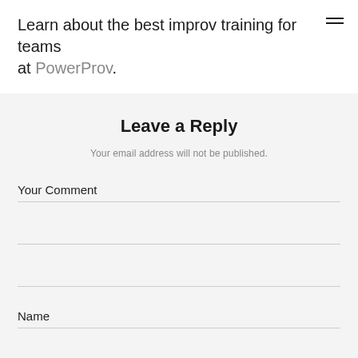Learn about the best improv training for teams at PowerProv.
Leave a Reply
Your email address will not be published.
Your Comment
Name
Email